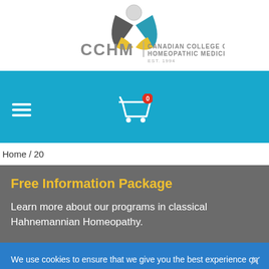[Figure (logo): CCHM Canadian College of Homeopathic Medicine logo with stylized bird/leaf design in teal, gray, and yellow, EST. 1994]
[Figure (infographic): Blue navigation bar with hamburger menu icon on the left and a shopping cart icon with a red badge showing 0 in the center]
Home / 20
Free Information Package
Learn more about our programs in classical Hahnemannian Homeopathy.
We use cookies to ensure that we give you the best experience on our website. If you continue to use this site we will assume that you are happy with it.
Ok   Privacy policy